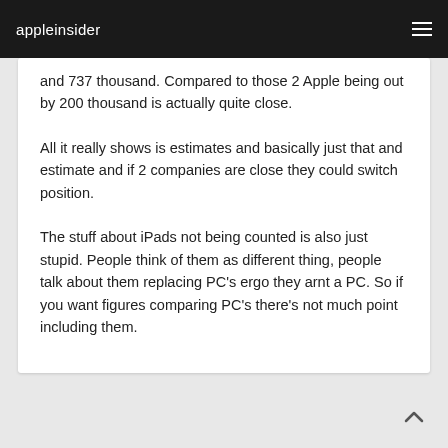appleinsider
and 737 thousand. Compared to those 2 Apple being out by 200 thousand is actually quite close.
All it really shows is estimates and basically just that and estimate and if 2 companies are close they could switch position.
The stuff about iPads not being counted is also just stupid. People think of them as different thing, people talk about them replacing PC's ergo they arnt a PC. So if you want figures comparing PC's there's not much point including them.